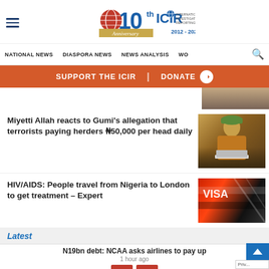ICIR 10th Anniversary — International Centre for Investigative Reporting 2012-2022
NATIONAL NEWS | DIASPORA NEWS | NEWS ANALYSIS | WO...
SUPPORT THE ICIR | DONATE →
[Figure (photo): Partial top photo of a person at a desk]
Miyetti Allah reacts to Gumi's allegation that terrorists paying herders N50,000 per head daily
[Figure (photo): Man in traditional Nigerian attire seated at a desk with a laptop]
HIV/AIDS: People travel from Nigeria to London to get treatment – Expert
[Figure (photo): Close-up of a red and black visa or travel document]
Latest
N19bn debt: NCAA asks airlines to pay up
1 hour ago